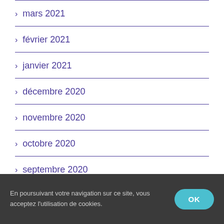mars 2021
février 2021
janvier 2021
décembre 2020
novembre 2020
octobre 2020
septembre 2020
En poursuivant votre navigation sur ce site, vous acceptez l'utilisation de cookies.